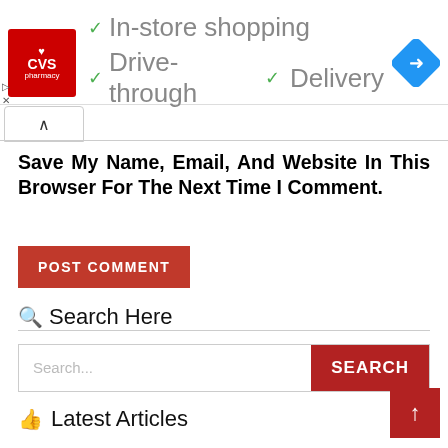[Figure (screenshot): CVS Pharmacy advertisement banner showing in-store shopping, drive-through, and delivery options with checkmarks, CVS logo, and navigation arrow icon]
[Figure (other): Collapse/scroll up button with caret-up arrow]
Save My Name, Email, And Website In This Browser For The Next Time I Comment.
POST COMMENT
Search Here
Search...
SEARCH
Latest Articles
[Figure (other): Scroll to top button with upward arrow]